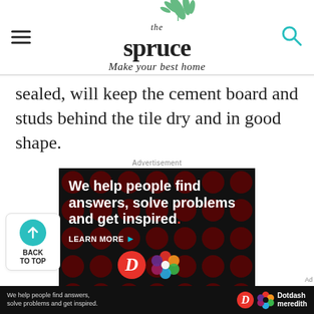the spruce — Make your best home
sealed, will keep the cement board and studs behind the tile dry and in good shape.
Advertisement
[Figure (infographic): Dotdash Meredith advertisement on black background with dark red dots pattern. Text reads: We help people find answers, solve problems and get inspired. LEARN MORE. Dotdash and Meredith logos shown.]
BACK TO TOP
We help people find answers, solve problems and get inspired. Dotdash meredith